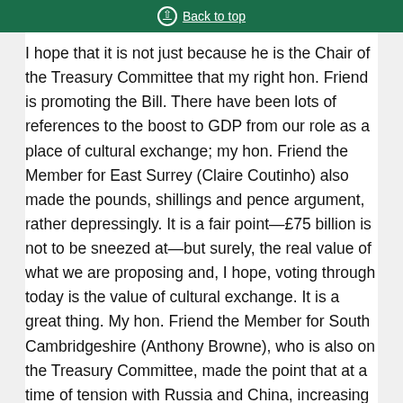Back to top
I hope that it is not just because he is the Chair of the Treasury Committee that my right hon. Friend is promoting the Bill. There have been lots of references to the boost to GDP from our role as a place of cultural exchange; my hon. Friend the Member for East Surrey (Claire Coutinho) also made the pounds, shillings and pence argument, rather depressingly. It is a fair point—£75 billion is not to be sneezed at—but surely, the real value of what we are proposing and, I hope, voting through today is the value of cultural exchange. It is a great thing. My hon. Friend the Member for South Cambridgeshire (Anthony Browne), who is also on the Treasury Committee, made the point that at a time of tension with Russia and China, increasing the opportunities for exchange of cultural objects